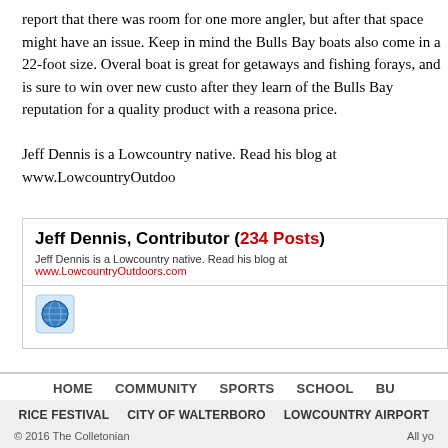report that there was room for one more angler, but after that space might have an issue. Keep in mind the Bulls Bay boats also come in a 22-foot size. Overall, boat is great for getaways and fishing forays, and is sure to win over new customers after they learn of the Bulls Bay reputation for a quality product with a reasonable price.
Jeff Dennis is a Lowcountry native. Read his blog at www.LowcountryOutdoors...
Jeff Dennis, Contributor (234 Posts)
Jeff Dennis is a Lowcountry native. Read his blog at www.LowcountryOutdoors.com
[Figure (illustration): Globe icon with blue color, representing a website/internet link]
HOME  COMMUNITY  SPORTS  SCHOOL  BUS...
RICE FESTIVAL  CITY OF WALTERBORO  LOWCOUNTRY AIRPORT
© 2016 The Colletonian    All yo...